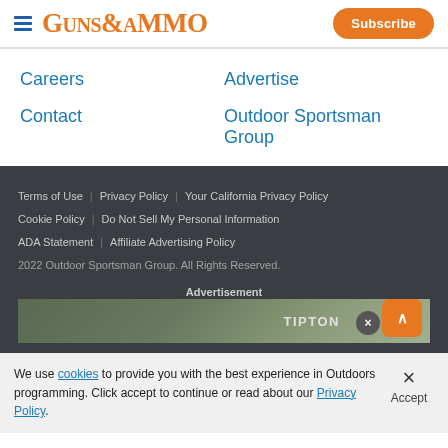GUNS&AMMO — Subscribe
Careers
Advertise
Contact
Outdoor Sportsman Group
Terms of Use  Privacy Policy  Your California Privacy Policy  Cookie Policy  Do Not Sell My Personal Information  ADA Statement  Affiliate Advertising Policy  2022 Outdoor Sportsman Group. All Rights Reserved.
Advertisement
We use cookies to provide you with the best experience in Outdoors programming. Click accept to continue or read about our Privacy Policy. × Accept